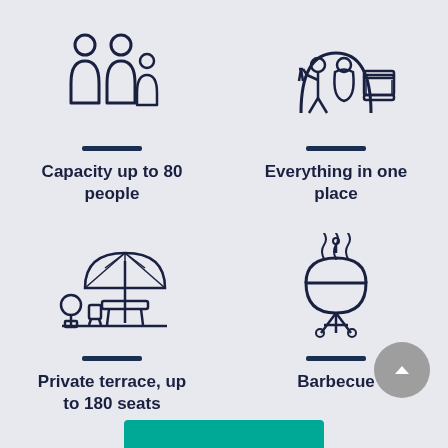[Figure (illustration): Icon of a family with two adults and a child]
Capacity up to 80 people
[Figure (illustration): Icon of two people (waiter and guest) with a table and bed, representing hotel/event services]
Everything in one place
[Figure (illustration): Icon of outdoor terrace with umbrella, tables, chairs and a plant]
Private terrace, up to 180 seats
[Figure (illustration): Icon of a barbecue grill with smoke]
Barbecue